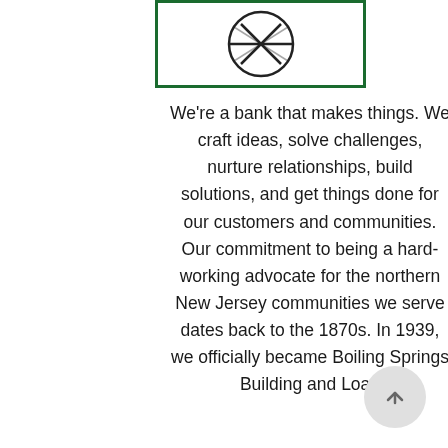[Figure (logo): Bank logo inside a green bordered rectangle — circular design with an X or crossed shape]
We're a bank that makes things. We craft ideas, solve challenges, nurture relationships, build solutions, and get things done for our customers and communities. Our commitment to being a hard-working advocate for the northern New Jersey communities we serve dates back to the 1870s. In 1939, we officially became Boiling Springs Building and Loan